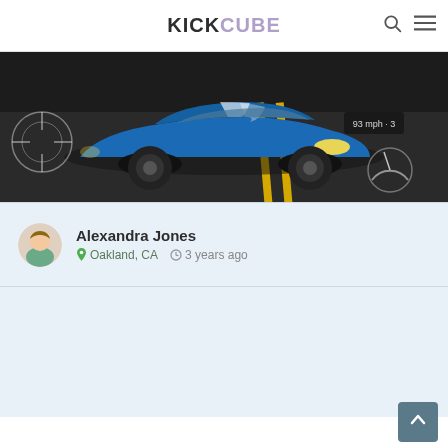KICKCUBE
[Figure (photo): A blue Ford Mustang on a dark racetrack surface with racing game HUD overlay including speedometer and dashboard gauges in the bottom right, and a wheel diagram on the left.]
Alexandra Jones
Oakland, CA   3 years ago